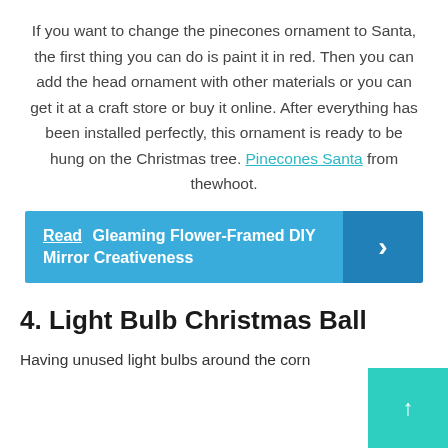If you want to change the pinecones ornament to Santa, the first thing you can do is paint it in red. Then you can add the head ornament with other materials or you can get it at a craft store or buy it online. After everything has been installed perfectly, this ornament is ready to be hung on the Christmas tree. Pinecones Santa from thewhoot.
Read Gleaming Flower-Framed DIY Mirror Creativeness ›
4. Light Bulb Christmas Ball
Having unused light bulbs around the corn